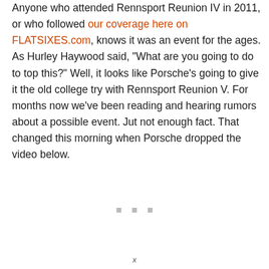Anyone who attended Rennsport Reunion IV in 2011, or who followed our coverage here on FLATSIXES.com, knows it was an event for the ages. As Hurley Haywood said, "What are you going to do to top this?" Well, it looks like Porsche's going to give it the old college try with Rennsport Reunion V. For months now we've been reading and hearing rumors about a possible event. Jut not enough fact. That changed this morning when Porsche dropped the video below.
[Figure (other): Three small grey squares (loading/placeholder dots) centered on the page, representing an embedded video placeholder.]